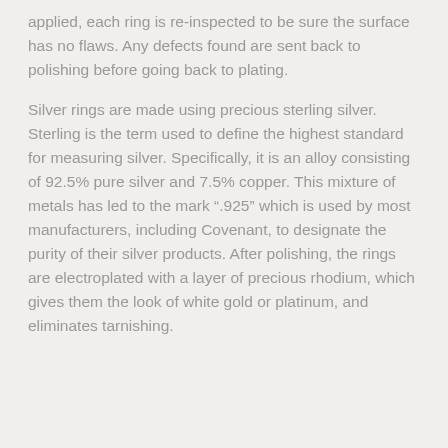applied, each ring is re-inspected to be sure the surface has no flaws. Any defects found are sent back to polishing before going back to plating.
Silver rings are made using precious sterling silver. Sterling is the term used to define the highest standard for measuring silver. Specifically, it is an alloy consisting of 92.5% pure silver and 7.5% copper. This mixture of metals has led to the mark ".925" which is used by most manufacturers, including Covenant, to designate the purity of their silver products. After polishing, the rings are electroplated with a layer of precious rhodium, which gives them the look of white gold or platinum, and eliminates tarnishing.